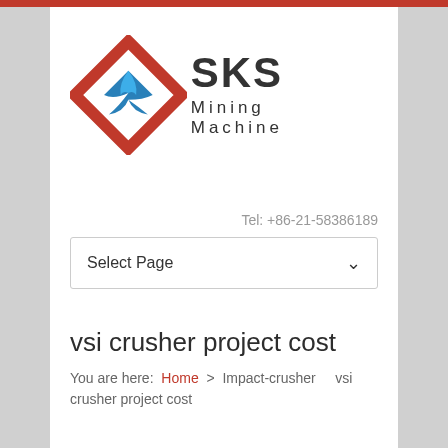[Figure (logo): SKS Mining Machine logo with red diamond shape containing blue butterfly/leaf icon, and text SKS Mining Machine]
Tel: +86-21-58386189
Select Page
vsi crusher project cost
You are here: Home > Impact-crusher    vsi crusher project cost